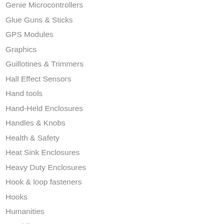Genie Microcontrollers
Glue Guns & Sticks
GPS Modules
Graphics
Guillotines & Trimmers
Hall Effect Sensors
Hand tools
Hand-Held Enclosures
Handles & Knobs
Health & Safety
Heat Sink Enclosures
Heavy Duty Enclosures
Hook & loop fasteners
Hooks
Humanities
Humidity Sensors